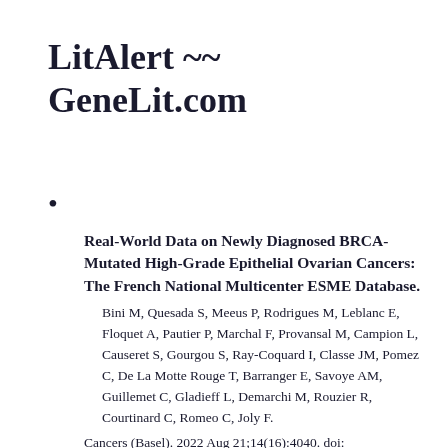LitAlert ~~ GeneLit.com
•
Real-World Data on Newly Diagnosed BRCA-Mutated High-Grade Epithelial Ovarian Cancers: The French National Multicenter ESME Database.
Bini M, Quesada S, Meeus P, Rodrigues M, Leblanc E, Floquet A, Pautier P, Marchal F, Provansal M, Campion L, Causeret S, Gourgou S, Ray-Coquard I, Classe JM, Pomez C, De La Motte Rouge T, Barranger E, Savoye AM, Guillemet C, Gladieff L, Demarchi M, Rouzier R, Courtinard C, Romeo C, Joly F.
Cancers (Basel). 2022 Aug 21;14(16):4040. doi: 10.3390/cancers14164040.